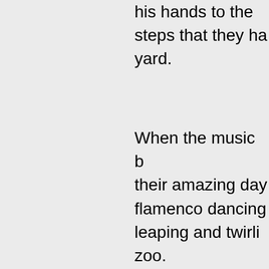his hands to the steps that they ha yard.
When the music b their amazing day flamenco dancing leaping and twirli zoo.
"Leaps! Twirls! Co steps! Come, my It was Miss Julie's Her voice sounde